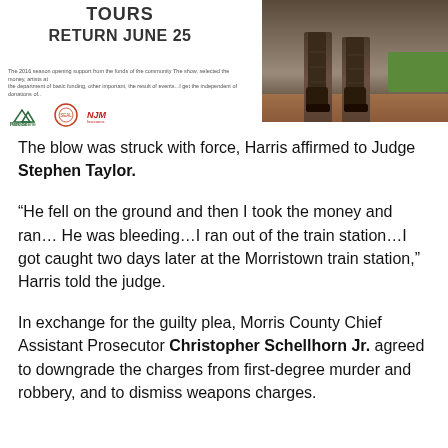TOURS
RETURN JUNE 25
[Figure (photo): Close-up photo of bronze statue legs and boots on brick pavement with green grass in background]
The blow was struck with force, Harris affirmed to Judge Stephen Taylor.
“He fell on the ground and then I took the money and ran… He was bleeding…I ran out of the train station…I got caught two days later at the Morristown train station,” Harris told the judge.
In exchange for the guilty plea, Morris County Chief Assistant Prosecutor Christopher Schellhorn Jr. agreed to downgrade the charges from first-degree murder and robbery, and to dismiss weapons charges.